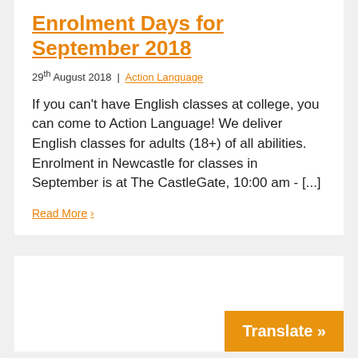Enrolment Days for September 2018
29th August 2018 | Action Language
If you can't have English classes at college, you can come to Action Language! We deliver English classes for adults (18+) of all abilities. Enrolment in Newcastle for classes in September is at The CastleGate, 10:00 am - [...]
Read More >